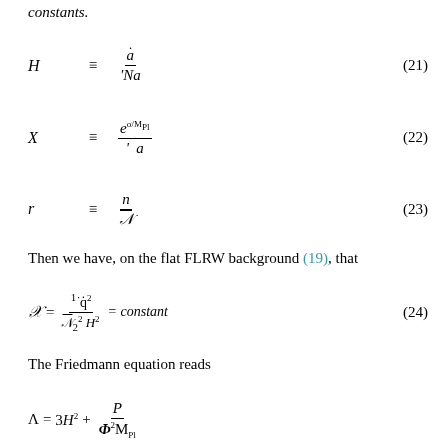constants.
Then we have, on the flat FLRW background (19), that
The Friedmann equation reads